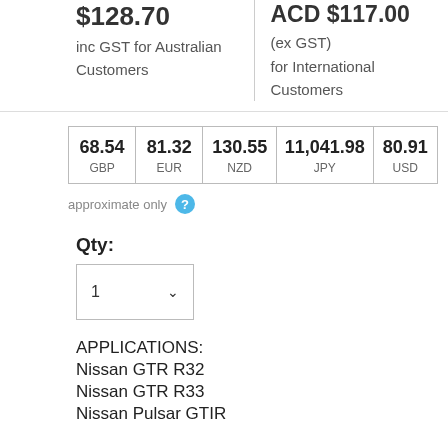inc GST for Australian Customers
ACD $117.00
(ex GST)
for International Customers
| GBP | EUR | NZD | JPY | USD |
| --- | --- | --- | --- | --- |
| 68.54 | 81.32 | 130.55 | 11,041.98 | 80.91 |
approximate only
Qty:
1
APPLICATIONS:
Nissan GTR R32
Nissan GTR R33
Nissan Pulsar GTIR